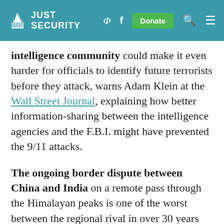Just Security
intelligence community could make it even harder for officials to identify future terrorists before they attack, warns Adam Klein at the Wall Street Journal, explaining how better information-sharing between the intelligence agencies and the F.B.I. might have prevented the 9/11 attacks.
The ongoing border dispute between China and India on a remote pass through the Himalayan peaks is one of the worst between the regional rival in over 30 years and reflects the rising ambition and nationalism of both countries. Steven Lee Myers, Ellen Barry and